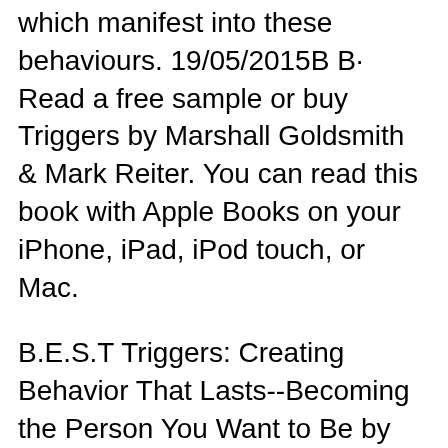which manifest into these behaviours. 19/05/2015B B· Read a free sample or buy Triggers by Marshall Goldsmith & Mark Reiter. You can read this book with Apple Books on your iPhone, iPad, iPod touch, or Mac.
B.E.S.T Triggers: Creating Behavior That Lasts--Becoming the Person You Want to Be by By Marshall Goldsmith, Mark Reiter Subject B.E.S.T TRIGGERS: CREATING BEHAVIOR THAT LASTS--BECOMING THE PERSON YOU WANT TO BE PDF 19/05/2015B B· Read a free sample or buy Triggers by Marshall Goldsmith & Mark Reiter. You can read this book with Apple Books on your iPhone, iPad, iPod touch, or Mac. You